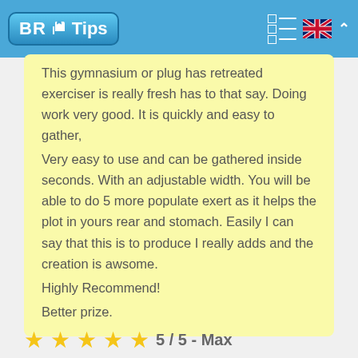BR Tips
This gymnasium or plug has retreated exerciser is really fresh has to that say. Doing work very good. It is quickly and easy to gather,
Very easy to use and can be gathered inside seconds. With an adjustable width. You will be able to do 5 more populate exert as it helps the plot in yours rear and stomach. Easily I can say that this is to produce I really adds and the creation is awsome.
Highly Recommend!
Better prize.
5 / 5 - Max